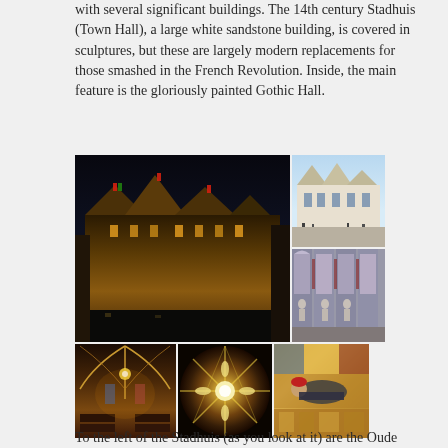with several significant buildings. The 14th century Stadhuis (Town Hall), a large white sandstone building, is covered in sculptures, but these are largely modern replacements for those smashed in the French Revolution. Inside, the main feature is the gloriously painted Gothic Hall.
[Figure (photo): Six photos of the Bruges Stadhuis (Town Hall): a large nighttime photo of the illuminated Gothic facade, a daytime exterior shot, a close-up of Gothic sculptural facade details, the interior Gothic Hall showing painted vaulted ceiling, a ceiling detail showing an ornate wooden chandelier/boss, and a detail of a painted figure in medieval costume.]
To the left of the Stadhuis (as you look at it) are the Oude